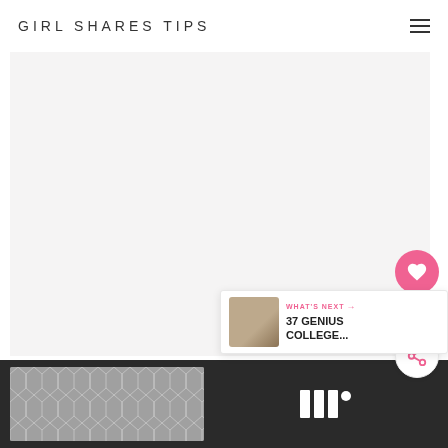GIRL SHARES TIPS
[Figure (screenshot): Website screenshot of Girl Shares Tips blog page with a large white/light gray image area]
[Figure (infographic): Pink circular heart/like button with count 16 and share button]
16
[Figure (infographic): What's Next widget showing thumbnail and text '37 GENIUS COLLEGE...' with WHAT'S NEXT label]
WHAT'S NEXT → 37 GENIUS COLLEGE...
[Figure (illustration): Bottom dark bar with gray chevron/geometric pattern tile image and Tailwind logo marks]